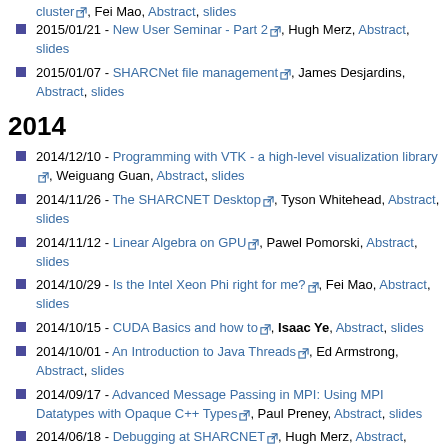cluster, Fei Mao, Abstract, slides
2015/01/21 - New User Seminar - Part 2, Hugh Merz, Abstract, slides
2015/01/07 - SHARCNet file management, James Desjardins, Abstract, slides
2014
2014/12/10 - Programming with VTK - a high-level visualization library, Weiguang Guan, Abstract, slides
2014/11/26 - The SHARCNET Desktop, Tyson Whitehead, Abstract, slides
2014/11/12 - Linear Algebra on GPU, Pawel Pomorski, Abstract, slides
2014/10/29 - Is the Intel Xeon Phi right for me?, Fei Mao, Abstract, slides
2014/10/15 - CUDA Basics and how to, Isaac Ye, Abstract, slides
2014/10/01 - An Introduction to Java Threads, Ed Armstrong, Abstract, slides
2014/09/17 - Advanced Message Passing in MPI: Using MPI Datatypes with Opaque C++ Types, Paul Preney, Abstract, slides
2014/06/18 - Debugging at SHARCNET, Hugh Merz, Abstract, slides
2014/05/21 - Running MATLAB in SHARCNET, Jemmy Hu, Abstract, slides
2014/04/16 - My code doesn’t crash -- why should I still use